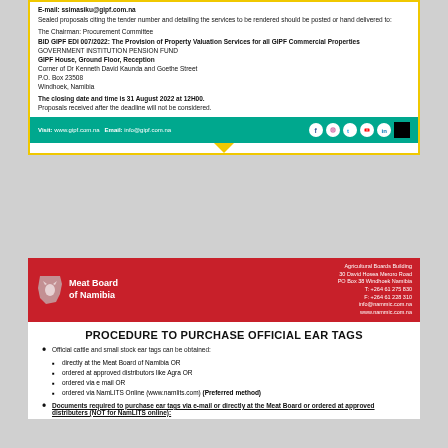E-mail: ssimasiku@gipf.com.na
Sealed proposals citing the tender number and detailing the services to be rendered should be posted or hand delivered to:
The Chairman: Procurement Committee
BID GIPF EDI 007/2022: The Provision of Property Valuation Services for all GIPF Commercial Properties
GOVERNMENT INSTITUTION PENSION FUND
GIPF House, Ground Floor, Reception
Corner of Dr Kenneth David Kaunda and Goethe Street
P.O. Box 23508
Windhoek, Namibia
The closing date and time is 31 August 2022 at 12H00.
Proposals received after the deadline will not be considered.
Visit: www.gipf.com.na  Email: info@gipf.com.na
[Figure (logo): Meat Board of Namibia red banner logo with address details]
PROCEDURE TO PURCHASE OFFICIAL EAR TAGS
Official cattle and small stock ear tags can be obtained:
directly at the Meat Board of Namibia OR
ordered at approved distributors like Agra OR
ordered via e mail OR
ordered via NamLITS Online (www.namlits.com) (Preferred method)
Documents required to purchase ear tags via e-mail or directly at the Meat Board or ordered at approved distributers (NOT for NamLITS online):